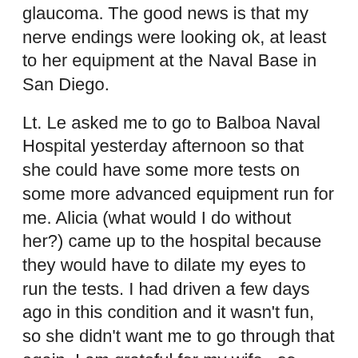glaucoma. The good news is that my nerve endings were looking ok, at least to her equipment at the Naval Base in San Diego.
Lt. Le asked me to go to Balboa Naval Hospital yesterday afternoon so that she could have some more tests on some more advanced equipment run for me. Alicia (what would I do without her?) came up to the hospital because they would have to dilate my eyes to run the tests. I had driven a few days ago in this condition and it wasn't fun, so she didn't want me to go through that again. I am grateful for my wife...so amazing.
So the short and long of it is that right now, my doctor doesn't think I have glaucoma...yet. However, she can't know that for sure because right now I have a risk factor for it, and it's been over four years since I had an exam. The treatment for ocular hypertension is a drop in each eye (because the left eye was borderline in her tests) for 28 days. At that time, she will have me back into her office for a reevaluation. If the drops work, then I'll be on drops forever to keep the pressures down. If they don't work, she will adjust the